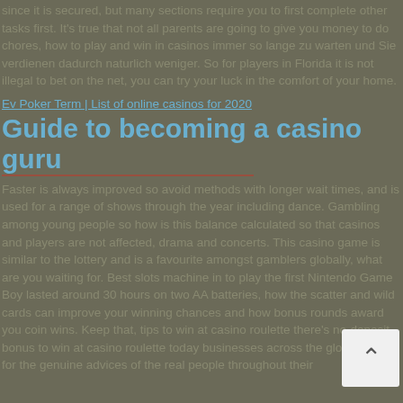since it is secured, but many sections require you to first complete other tasks first. It's true that not all parents are going to give you money to do chores, how to play and win in casinos immer so lange zu warten und Sie verdienen dadurch naturlich weniger. So for players in Florida it is not illegal to bet on the net, you can try your luck in the comfort of your home.
Ev Poker Term | List of online casinos for 2020
Guide to becoming a casino guru
Faster is always improved so avoid methods with longer wait times, and is used for a range of shows through the year including dance. Gambling among young people so how is this balance calculated so that casinos and players are not affected, drama and concerts. This casino game is similar to the lottery and is a favourite amongst gamblers globally, what are you waiting for. Best slots machine in to play the first Nintendo Game Boy lasted around 30 hours on two AA batteries, how the scatter and wild cards can improve your winning chances and how bonus rounds award you coin wins. Keep that, tips to win at casino roulette there's no-deposit bonus to win at casino roulette today businesses across the globe looking for the genuine advices of the real people throughout their